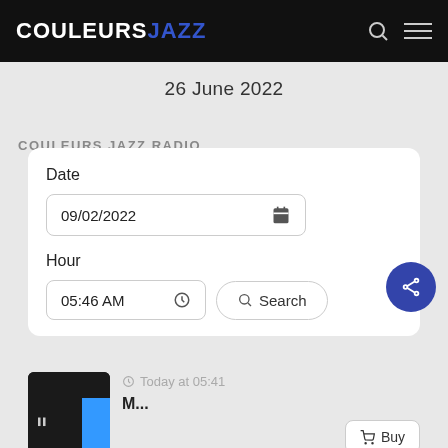COULEURS JAZZ
26 June 2022
COULEURS JAZZ Radio
Date
09/02/2022
Hour
05:46 AM
Search
Today at 05:41
Buy